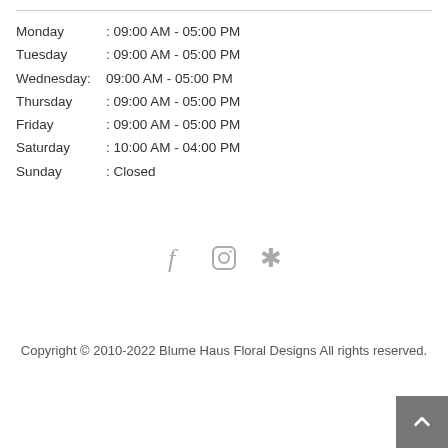Monday    : 09:00 AM - 05:00 PM
Tuesday   : 09:00 AM - 05:00 PM
Wednesday: 09:00 AM - 05:00 PM
Thursday  : 09:00 AM - 05:00 PM
Friday    : 09:00 AM - 05:00 PM
Saturday  : 10:00 AM - 04:00 PM
Sunday    : Closed
[Figure (other): Social media icons: Facebook, Instagram, Yelp]
Copyright © 2010-2022 Blume Haus Floral Designs All rights reserved.